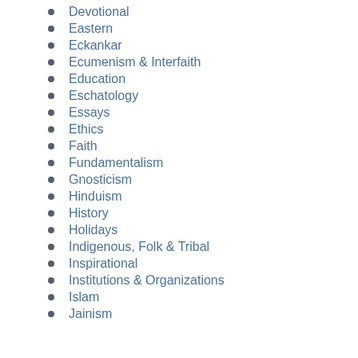Devotional
Eastern
Eckankar
Ecumenism & Interfaith
Education
Eschatology
Essays
Ethics
Faith
Fundamentalism
Gnosticism
Hinduism
History
Holidays
Indigenous, Folk & Tribal
Inspirational
Institutions & Organizations
Islam
Jainism